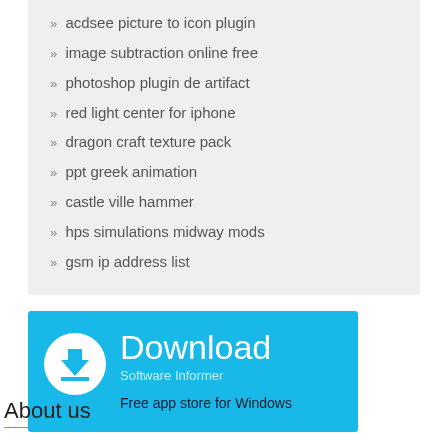» acdsee picture to icon plugin
» image subtraction online free
» photoshop plugin de artifact
» red light center for iphone
» dragon craft texture pack
» ppt greek animation
» castle ville hammer
» hps simulations midway mods
» gsm ip address list
[Figure (infographic): Download Software Informer banner with blue background, download arrow icon, text 'Download', 'Software Informer', 'Free app store for Windows']
About us